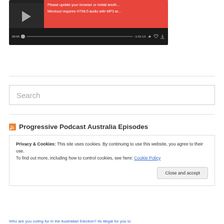[Figure (screenshot): Mixcloud audio player widget with dark background. Shows error overlay in red: 'Please update your browser or install anoth...' and 'Mixcloud requires HTML5 audio with MP3 ar...'. Controls bar shows 00:00 time, progress bar, -1:01:13 remaining, and share/like/download icons.]
Search
Progressive Podcast Australia Episodes
Privacy & Cookies: This site uses cookies. By continuing to use this website, you agree to their use.
To find out more, including how to control cookies, see here: Cookie Policy
Close and accept
Who are you voting for in the Australian Election? Its illegal for you to